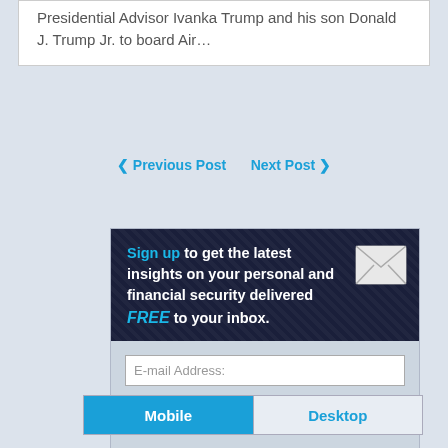Presidential Advisor Ivanka Trump and his son Donald J. Trump Jr. to board Air…
❮ Previous Post    Next Post ❯
[Figure (infographic): Newsletter signup box with dark header reading 'Sign up to get the latest insights on your personal and financial security delivered FREE to your inbox.' with envelope icon, and a light blue form area with E-mail Address input and Submit button.]
Mobile    Desktop